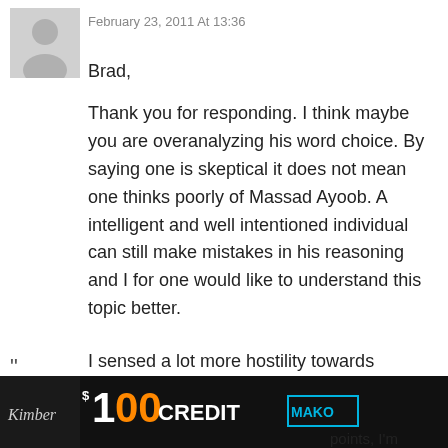February 23, 2011 At 13:36
Brad,
Thank you for responding. I think maybe you are overanalyzing his word choice. By saying one is skeptical it does not mean one thinks poorly of Massad Ayoob. A intelligent and well intentioned individual can still make mistakes in his reasoning and I for one would like to understand this topic better.
I sensed a lot more hostility towards GKoenig than coming from him. Perhaps I misunderstood the responses to his post, perhaps Mr. Koenig was being sneaky and I didn't pick up on it. Perhaps he could have chosen his words better. Neither possibility
"
[Figure (screenshot): Advertisement banner with gun image, '$100 CREDIT' text and MAKO branding on dark background, partially cut off at bottom of page. Text 'points, I'm' visible at bottom right.]